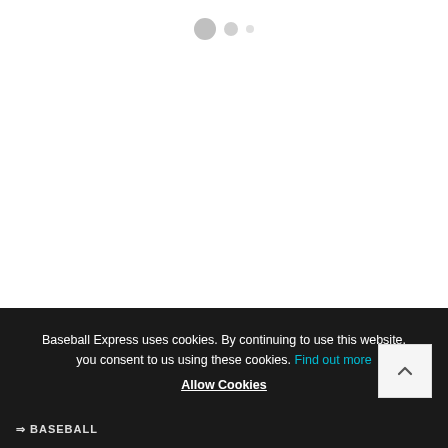[Figure (other): Three dots/circles of decreasing size arranged horizontally near top center of page, serving as a carousel or loading indicator]
Baseball Express uses cookies. By continuing to use this website, you consent to us using these cookies. Find out more
Allow Cookies
[Figure (other): Back to top button with upward pointing chevron arrow on light grey background]
BASEBALL EXPRESS logo/wordmark